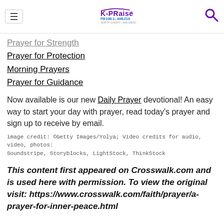K-PRAISE FM 106.1 | AM 1210 NORTH COUNTY | SAN DIEGO
Prayer for Strength
Prayer for Protection
Morning Prayers
Prayer for Guidance
Now available is our new Daily Prayer devotional! An easy way to start your day with prayer, read today's prayer and sign up to receive by email.
image credit: ©Getty Images/Yolya; Video credits for audio, video, photos: Soundstripe, Storyblocks, LightStock, ThinkStock
This content first appeared on Crosswalk.com and is used here with permission. To view the original visit: https://www.crosswalk.com/faith/prayer/a-prayer-for-inner-peace.html